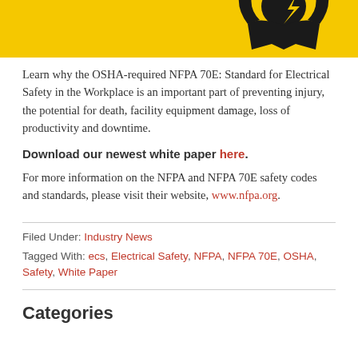[Figure (illustration): Yellow background with black silhouette figure (electrical hazard warning image), partially cropped at top of page]
Learn why the OSHA-required NFPA 70E: Standard for Electrical Safety in the Workplace is an important part of preventing injury, the potential for death, facility equipment damage, loss of productivity and downtime.
Download our newest white paper here.
For more information on the NFPA and NFPA 70E safety codes and standards, please visit their website, www.nfpa.org.
Filed Under: Industry News
Tagged With: ecs, Electrical Safety, NFPA, NFPA 70E, OSHA, Safety, White Paper
Categories